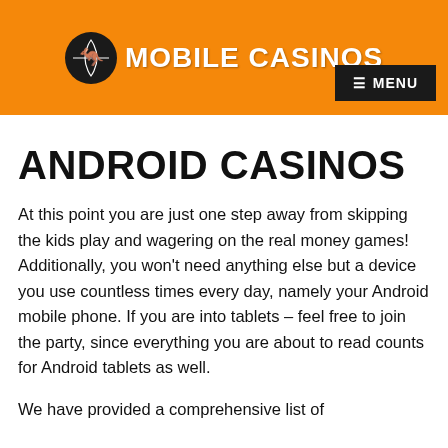MOBILE CASINOS
ANDROID CASINOS
At this point you are just one step away from skipping the kids play and wagering on the real money games! Additionally, you won't need anything else but a device you use countless times every day, namely your Android mobile phone. If you are into tablets – feel free to join the party, since everything you are about to read counts for Android tablets as well.
We have provided a comprehensive list of